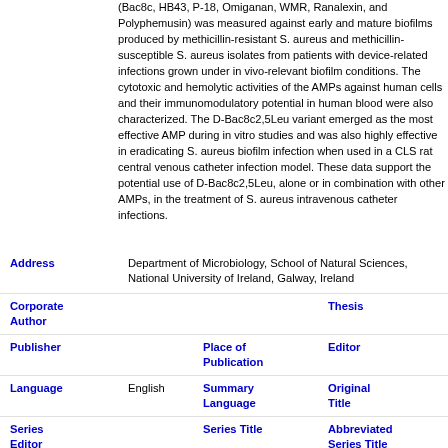(Bac8c, HB43, P-18, Omiganan, WMR, Ranalexin, and Polyphemusin) was measured against early and mature biofilms produced by methicillin-resistant S. aureus and methicillin-susceptible S. aureus isolates from patients with device-related infections grown under in vivo-relevant biofilm conditions. The cytotoxic and hemolytic activities of the AMPs against human cells and their immunomodulatory potential in human blood were also characterized. The D-Bac8c2,5Leu variant emerged as the most effective AMP during in vitro studies and was also highly effective in eradicating S. aureus biofilm infection when used in a CLS rat central venous catheter infection model. These data support the potential use of D-Bac8c2,5Leu, alone or in combination with other AMPs, in the treatment of S. aureus intravenous catheter infections.
Address: Department of Microbiology, School of Natural Sciences, National University of Ireland, Galway, Ireland
Corporate Author | Thesis
Publisher | Place of Publication | Editor
Language: English | Summary Language | Original Title
Series Editor | Series Title | Abbreviated Series Title
Series | Series | Edition